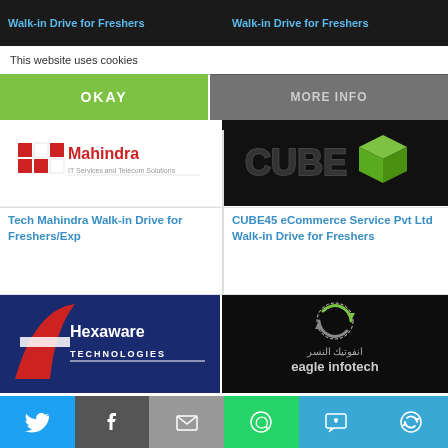Walk-in Drive for Freshers | Walk-in Drive for Freshers
This website uses cookies
OKAY
MORE INFO
[Figure (logo): Tech Mahindra IT Services and Telecom Solutions logo]
[Figure (logo): CUBE45 logo on dark background with green cube icon]
Tech Mahindra Walk-in Drive for Freshers/Exp
CUBE45 eCommerce Service Pvt Ltd Walk-in Drive for Freshers
[Figure (logo): Hexaware Technologies logo - dark blue background with red swoosh]
[Figure (logo): Eagle Infotech logo with recycling arrows and Arabic text]
Hexaware Technologies Walkin Interview For Freshers/Exp
Embedded System Walk-in Interview 17 Oct 2016 To 19 Oct 2016-Eagle TK Infotech
[Figure (infographic): Social sharing bar with Twitter, Facebook, Email, WhatsApp, SMS, and other share buttons]